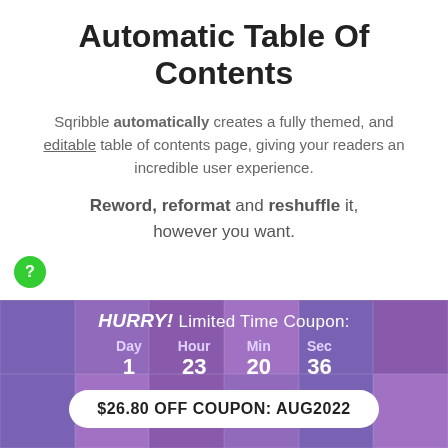Automatic Table Of Contents
Sqribble automatically creates a fully themed, and editable table of contents page, giving your readers an incredible user experience.
Reword, reformat and reshuffle it, however you want.
[Figure (infographic): HURRY! Limited Time Coupon countdown timer showing Day 1, Hour 23, Min 20, Sec 36, with a coupon button reading $26.80 OFF COUPON: AUG2022, overlaid on a purple-tinted grid of face photos]